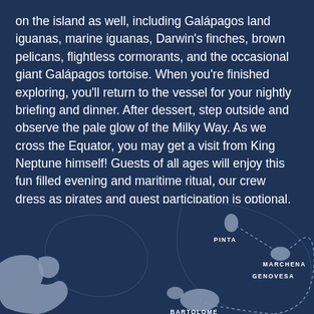on the island as well, including Galápagos land iguanas, marine iguanas, Darwin's finches, brown pelicans, flightless cormorants, and the occasional giant Galápagos tortoise. When you're finished exploring, you'll return to the vessel for your nightly briefing and dinner. After dessert, step outside and observe the pale glow of the Milky Way. As we cross the Equator, you may get a visit from King Neptune himself! Guests of all ages will enjoy this fun filled evening and maritime ritual, our crew dress as pirates and guest participation is optional.
[Figure (map): Partial map of the Galápagos Islands showing Pinta, Marchena, Genovesa, and Bartolome islands with dotted route lines indicating a cruise itinerary.]